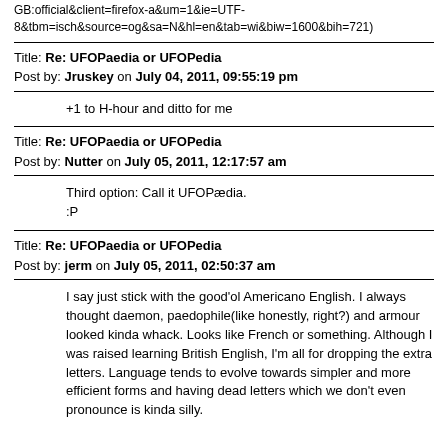GB:official&client=firefox-a&um=1&ie=UTF-8&tbm=isch&source=og&sa=N&hl=en&tab=wi&biw=1600&bih=721)
Title: Re: UFOPaedia or UFOPedia
Post by: Jruskey on July 04, 2011, 09:55:19 pm
+1 to H-hour and ditto for me
Title: Re: UFOPaedia or UFOPedia
Post by: Nutter on July 05, 2011, 12:17:57 am
Third option: Call it UFOPædia.
:P
Title: Re: UFOPaedia or UFOPedia
Post by: jerm on July 05, 2011, 02:50:37 am
I say just stick with the good'ol Americano English. I always thought daemon, paedophile(like honestly, right?) and armour looked kinda whack. Looks like French or something. Although I was raised learning British English, I'm all for dropping the extra letters. Language tends to evolve towards simpler and more efficient forms and having dead letters which we don't even pronounce is kinda silly.